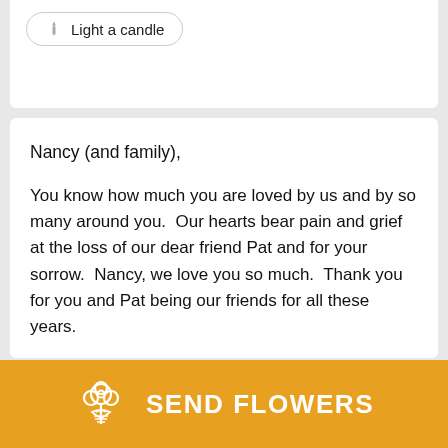[Figure (other): Light a candle button with flame icon]
Nancy (and family),
You know how much you are loved by us and by so many around you.  Our hearts bear pain and grief at the loss of our dear friend Pat and for your sorrow.  Nancy, we love you so much.  Thank you for you and Pat being our friends for all these years.
KEN & JAN SONS
[Figure (other): Send Flowers button with bouquet icon]